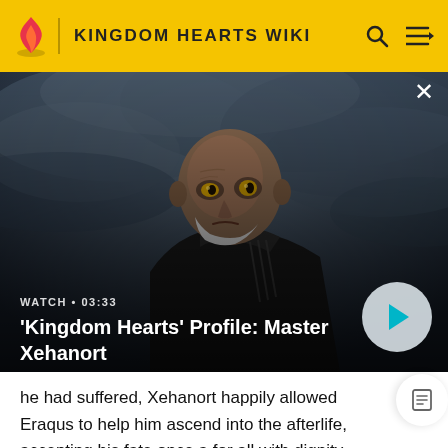KINGDOM HEARTS WIKI
[Figure (screenshot): Video thumbnail showing Master Xehanort character from Kingdom Hearts game, bald with yellow eyes wearing a dark coat, against cloudy dark sky background. Watch duration 03:33 shown. Title: 'Kingdom Hearts' Profile: Master Xehanort]
he had suffered, Xehanort happily allowed Eraqus to help him ascend into the afterlife, accepting his fate once and for all with dignity and showcasing that even he was willing to admit defeat when bested by a worthy opponent.